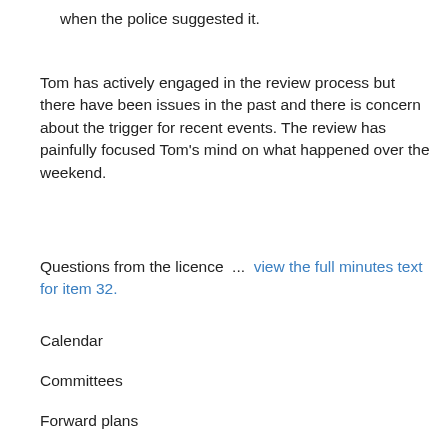when the police suggested it.
Tom has actively engaged in the review process but there have been issues in the past and there is concern about the trigger for recent events. The review has painfully focused Tom's mind on what happened over the weekend.
Questions from the licence  ...  view the full minutes text for item 32.
Calendar
Committees
Forward plans